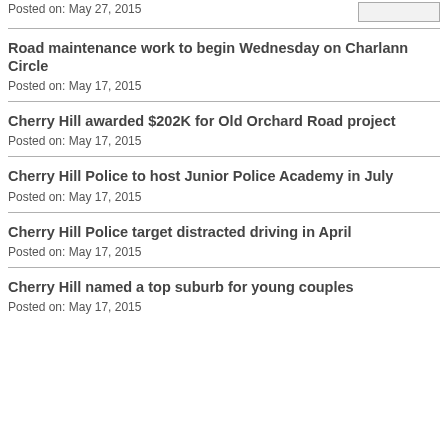Posted on: May 27, 2015
Road maintenance work to begin Wednesday on Charlann Circle
Posted on: May 17, 2015
Cherry Hill awarded $202K for Old Orchard Road project
Posted on: May 17, 2015
Cherry Hill Police to host Junior Police Academy in July
Posted on: May 17, 2015
Cherry Hill Police target distracted driving in April
Posted on: May 17, 2015
Cherry Hill named a top suburb for young couples
Posted on: May 17, 2015